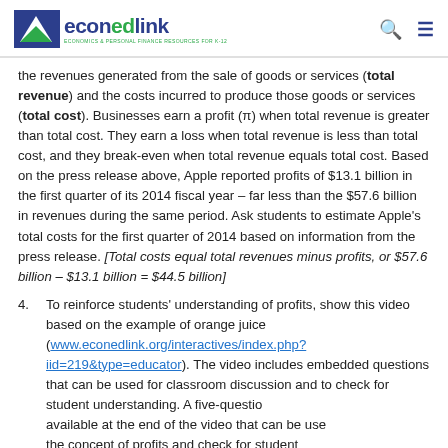econedlink — Economics & Personal Finance Resources for K-12
the revenues generated from the sale of goods or services (total revenue) and the costs incurred to produce those goods or services (total cost). Businesses earn a profit (π) when total revenue is greater than total cost. They earn a loss when total revenue is less than total cost, and they break-even when total revenue equals total cost. Based on the press release above, Apple reported profits of $13.1 billion in the first quarter of its 2014 fiscal year – far less than the $57.6 billion in revenues during the same period. Ask students to estimate Apple's total costs for the first quarter of 2014 based on information from the press release. [Total costs equal total revenues minus profits, or $57.6 billion – $13.1 billion = $44.5 billion]
4. To reinforce students' understanding of profits, show this video based on the example of orange juice (www.econedlink.org/interactives/index.php?iid=219&type=educator). The video includes embedded questions that can be used for classroom discussion and to check for student understanding. A five-question quiz is available at the end of the video that can be used to assess the concept of profits and check for student understanding.